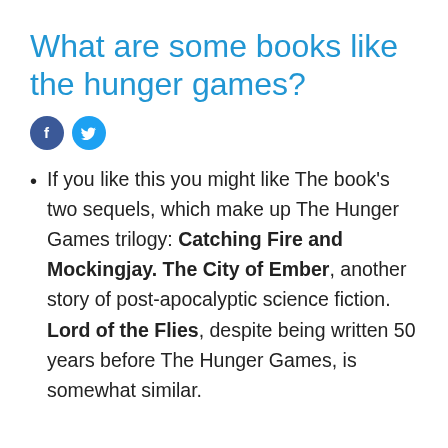What are some books like the hunger games?
[Figure (other): Facebook and Twitter social share icon buttons]
If you like this you might like The book's two sequels, which make up The Hunger Games trilogy: Catching Fire and Mockingjay. The City of Ember, another story of post-apocalyptic science fiction. Lord of the Flies, despite being written 50 years before The Hunger Games, is somewhat similar.